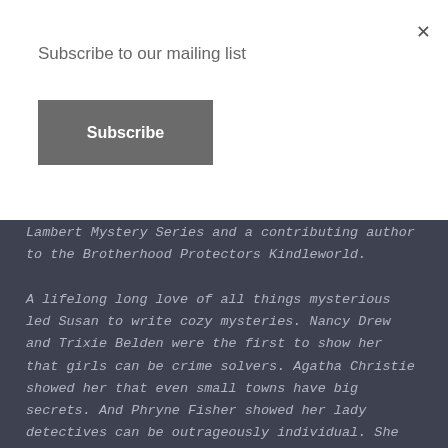Subscribe to our mailing list
Subscribe
Lambert Mystery Series and a contributing author to the Brotherhood Protectors Kindleworld.
A lifelong long love of all things mysterious led Susan to write cozy mysteries. Nancy Drew and Trixie Belden were the first to show her that girls can be crime solvers. Agatha Christie showed her that even small towns have big secrets. And Phryne Fisher showed her lady detectives can be outrageously individual. She lives in Mississippi with her rescue mini dachshund, Lucy, and her rescue cat of no particular breed, Dick.